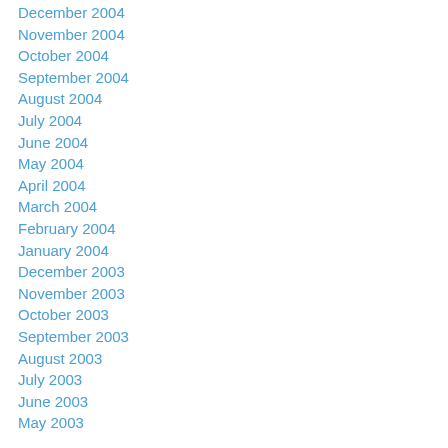December 2004
November 2004
October 2004
September 2004
August 2004
July 2004
June 2004
May 2004
April 2004
March 2004
February 2004
January 2004
December 2003
November 2003
October 2003
September 2003
August 2003
July 2003
June 2003
May 2003